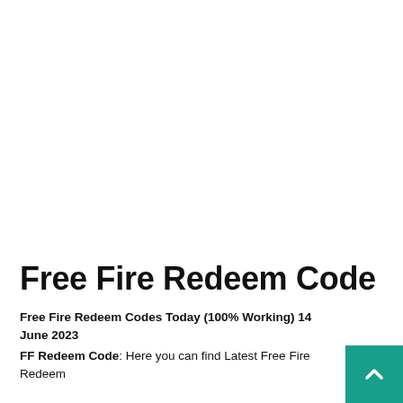Free Fire Redeem Code
Free Fire Redeem Codes Today (100% Working) 14 June 2023
FF Redeem Code: Here you can find Latest Free Fire Redeem